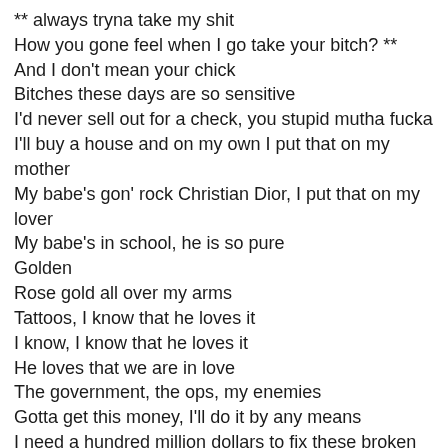** always tryna take my shit
How you gone feel when I go take your bitch? **
And I don't mean your chick
Bitches these days are so sensitive
I'd never sell out for a check, you stupid mutha fucka
I'll buy a house and on my own I put that on my mother
My babe's gon' rock Christian Dior, I put that on my lover
My babe's in school, he is so pure
Golden
Rose gold all over my arms
Tattoos, I know that he loves it
I know, I know that he loves it
He loves that we are in love
The government, the ops, my enemies
Gotta get this money, I'll do it by any means
I need a hundred million dollars to fix these broken streets